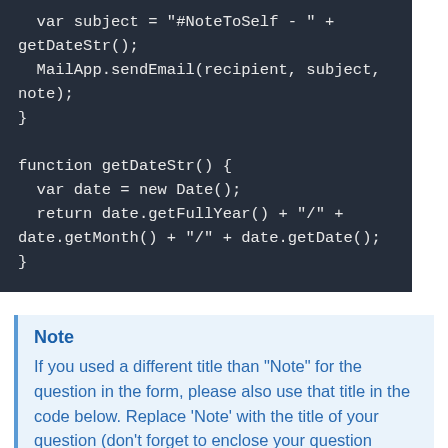var subject = "#NoteToSelf - " +
getDateStr();
  MailApp.sendEmail(recipient, subject,
note);
}

function getDateStr() {
  var date = new Date();
  return date.getFullYear() + "/" +
date.getMonth() + "/" + date.getDate();
}
Note
If you used a different title than "Note" for the question in the form, please also use that title in the code below. Replace 'Note' with the title of your question (don't forget to enclose your question within single quotes!).